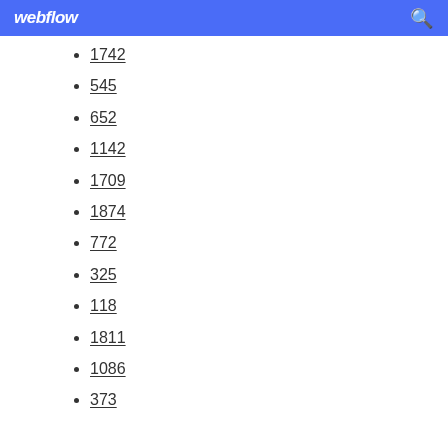webflow
1742
545
652
1142
1709
1874
772
325
118
1811
1086
373